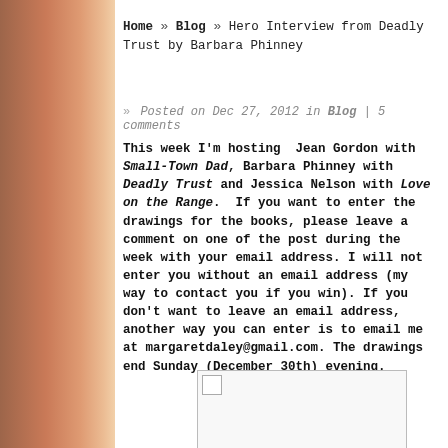Home » Blog » Hero Interview from Deadly Trust by Barbara Phinney
» Posted on Dec 27, 2012 in Blog | 5 comments
This week I'm hosting Jean Gordon with Small-Town Dad, Barbara Phinney with Deadly Trust and Jessica Nelson with Love on the Range. If you want to enter the drawings for the books, please leave a comment on one of the post during the week with your email address. I will not enter you without an email address (my way to contact you if you win). If you don't want to leave an email address, another way you can enter is to email me at margaretdaley@gmail.com. The drawings end Sunday (December 30th) evening.
[Figure (photo): Image placeholder with broken image icon in top-left corner, shown inside a bordered rectangle]